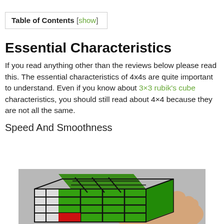Table of Contents [show]
Essential Characteristics
If you read anything other than the reviews below please read this. The essential characteristics of 4x4s are quite important to understand. Even if you know about 3×3 rubik's cube characteristics, you should still read about 4×4 because they are not all the same.
Speed And Smoothness
[Figure (photo): A hand holding a 4x4 Rubik's cube showing green and black faces with red corner visible at bottom]